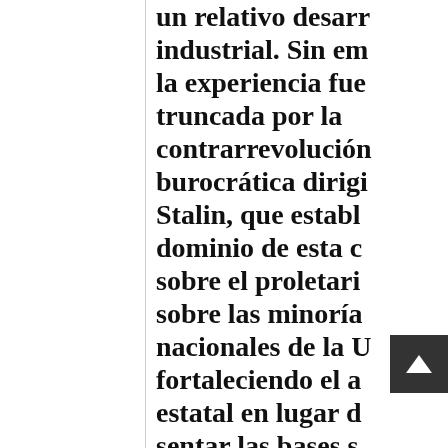un relativo desarr industrial. Sin em la experiencia fue truncada por la contrarrevolución burocrática dirigi Stalin, que establ dominio de esta c sobre el proletari sobre las minoría nacionales de la U fortaleciendo el a estatal en lugar d sentar las bases s para su extinción pasaje de la buroc las filas d restauración capi abierto a principi